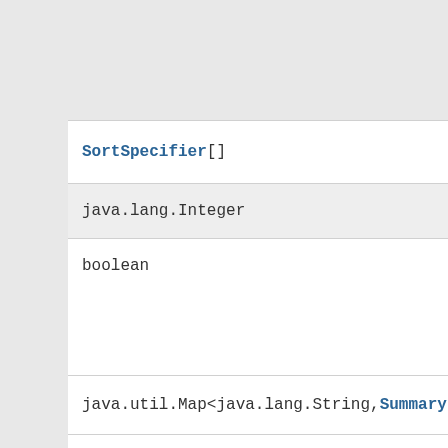SortSpecifier[]
java.lang.Integer
boolean
java.util.Map<java.lang.String,SummaryFunc
TextMatchStyle